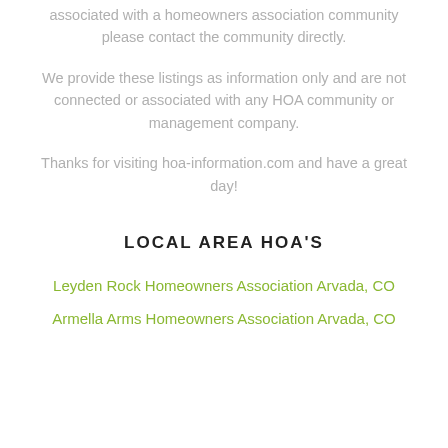associated with a homeowners association community please contact the community directly.
We provide these listings as information only and are not connected or associated with any HOA community or management company.
Thanks for visiting hoa-information.com and have a great day!
LOCAL AREA HOA'S
Leyden Rock Homeowners Association Arvada, CO
Armella Arms Homeowners Association Arvada, CO